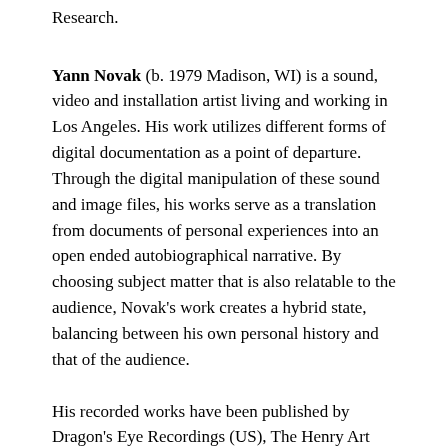Research.
Yann Novak (b. 1979 Madison, WI) is a sound, video and installation artist living and working in Los Angeles. His work utilizes different forms of digital documentation as a point of departure. Through the digital manipulation of these sound and image files, his works serve as a translation from documents of personal experiences into an open ended autobiographical narrative. By choosing subject matter that is also relatable to the audience, Novak's work creates a hybrid state, balancing between his own personal history and that of the audience.
His recorded works have been published by Dragon's Eye Recordings (US), The Henry Art Gallery (US), Infrequency Editions (CA), Kovuki (IT), LINE (US), Mandorla (MX)